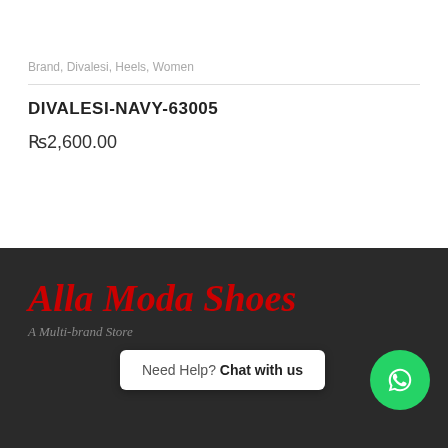Brand, Divalesi, Heels, Women
DIVALESI-NAVY-63005
₨2,600.00
[Figure (logo): Alla Moda Shoes store logo in red italic script on dark background, with tagline 'A Multi-brand Store']
Need Help? Chat with us